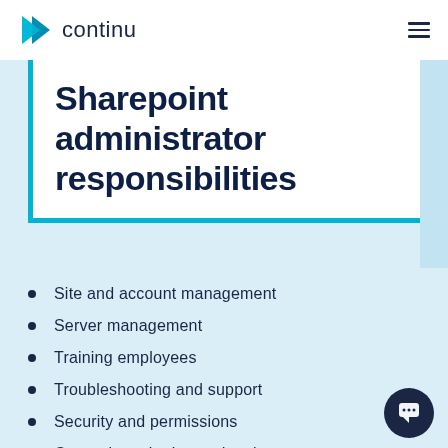continu
Sharepoint administrator responsibilities
Site and account management
Server management
Training employees
Troubleshooting and support
Security and permissions
General monitoring and maintenance